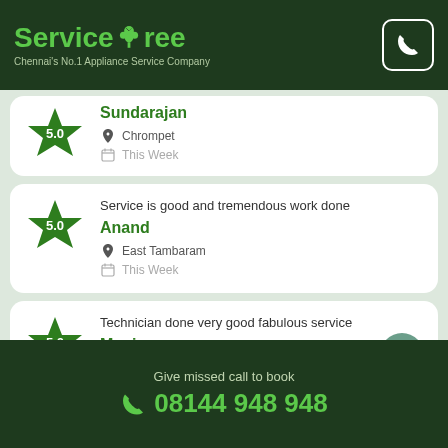ServiceTree - Chennai's No.1 Appliance Service Company
Service is good and tremendous work done
Anand
East Tambaram
This Week
Technician done very good fabulous service
Mani
Give missed call to book 08144 948 948